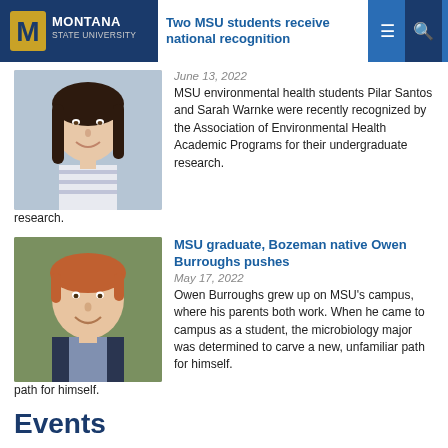Two MSU students receive national recognition
[Figure (photo): Portrait photo of a young woman with long dark hair, smiling, wearing a striped shirt]
June 13, 2022
MSU environmental health students Pilar Santos and Sarah Warnke were recently recognized by the Association of Environmental Health Academic Programs for their undergraduate research.
[Figure (photo): Portrait photo of a young man with reddish hair, smiling, wearing a dark suit jacket]
MSU graduate, Bozeman native Owen Burroughs pushes
May 17, 2022
Owen Burroughs grew up on MSU’s campus, where his parents both work. When he came to campus as a student, the microbiology major was determined to carve a new, unfamiliar path for himself.
Events